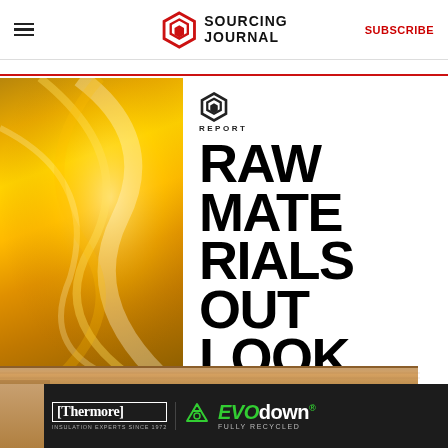Sourcing Journal — SUBSCRIBE
[Figure (illustration): Raw Materials Outlook Report 2022 cover image with golden/amber liquid swirl on the left panel and bold black text 'RAW MATERIALS OUTLOOK' with Sourcing Journal logo and REPORT label on white right panel]
Raw Materials Outlook Report 2022
[Figure (advertisement): Thermore and EVO down advertisement banner. Dark background with Thermore logo, 'INSULATION EXPERTS SINCE 1972', recycling icon, EVO down logo in green, 'FULLY RECYCLED' text. Left edge has cardboard texture strip.]